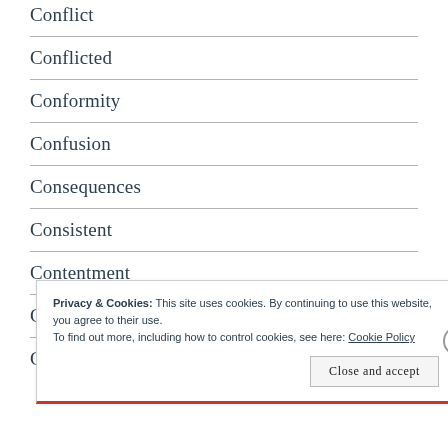Conflict
Conflicted
Conformity
Confusion
Consequences
Consistent
Contentment
Contextualization
Control
Privacy & Cookies: This site uses cookies. By continuing to use this website, you agree to their use.
To find out more, including how to control cookies, see here: Cookie Policy
Close and accept